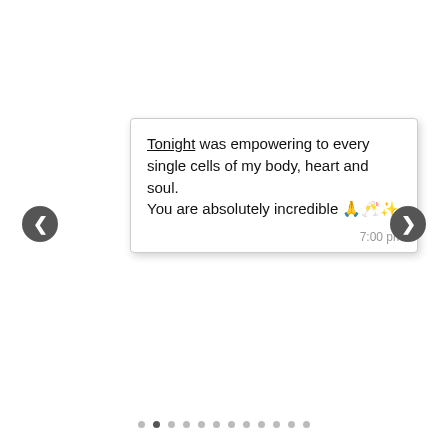[Figure (screenshot): A text message bubble with white background and gray border showing the message: 'Tonight was empowering to every single cells of my body, heart and soul. You are absolutely incredible 🙏🥂✨' with timestamp '7:00 pm'. Navigation arrows on left and right sides. Dot pagination indicators at the bottom.]